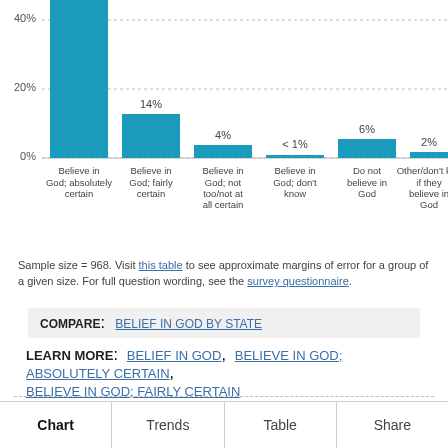[Figure (bar-chart): ]
Sample size = 968. Visit this table to see approximate margins of error for a group of a given size. For full question wording, see the survey questionnaire.
COMPARE:  BELIEF IN GOD BY STATE
LEARN MORE:  BELIEF IN GOD,  BELIEVE IN GOD; ABSOLUTELY CERTAIN,  BELIEVE IN GOD; FAIRLY CERTAIN
Chart  Trends  Table  Share